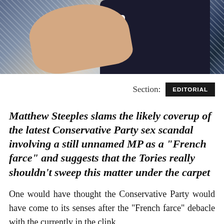[Figure (photo): Close-up photo of hands, one appearing to wear a dark suit sleeve with white shirt cuff, against a light textured background]
Section:  EDITORIAL
Matthew Steeples slams the likely coverup of the latest Conservative Party sex scandal involving a still unnamed MP as a “French farce” and suggests that the Tories really shouldn’t sweep this matter under the carpet
One would have thought the Conservative Party would have come to its senses after the “French farce” debacle with the currently in the clink